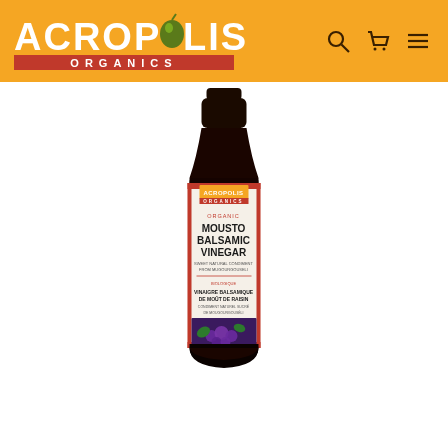[Figure (logo): Acropolis Organics logo on orange background with olive icon and red organics bar]
[Figure (photo): Acropolis Organics Organic Mousto Balsamic Vinegar bottle with dark glass, label showing product name and grape imagery]